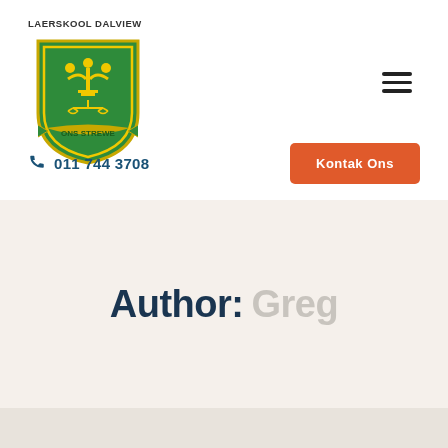[Figure (logo): Laerskool Dalview school crest: green and gold shield with candelabra and scales, banner reading ONS STREWE]
LAERSKOOL DALVIEW
011 744 3708
Kontak Ons
Author: Greg